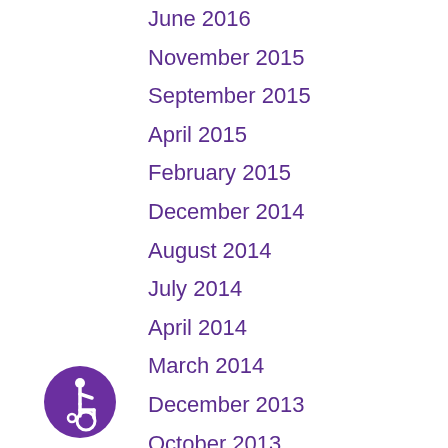June 2016
November 2015
September 2015
April 2015
February 2015
December 2014
August 2014
July 2014
April 2014
March 2014
December 2013
October 2013
September 2013
July 2013
June 2013
[Figure (illustration): Purple circular accessibility icon showing a person in a wheelchair]